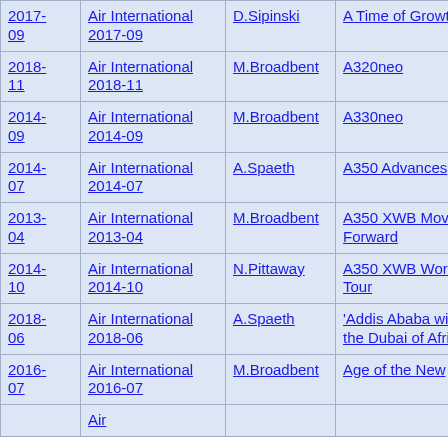| Date | Publication | Author | Title | Type |
| --- | --- | --- | --- | --- |
| 2017-09 | Air International 2017-09 | D.Sipinski | A Time of Growth | Comme... |
| 2018-11 | Air International 2018-11 | M.Broadbent | A320neo | Comme... |
| 2014-09 | Air International 2014-09 | M.Broadbent | A330neo | Comme... |
| 2014-07 | Air International 2014-07 | A.Spaeth | A350 Advances | Comme... |
| 2013-04 | Air International 2013-04 | M.Broadbent | A350 XWB Moving Forward | Comme... |
| 2014-10 | Air International 2014-10 | N.Pittaway | A350 XWB World Tour | Comme... |
| 2018-06 | Air International 2018-06 | A.Spaeth | 'Addis Ababa will be the Dubai of Africa' | Comme... |
| 2016-07 | Air International 2016-07 | M.Broadbent | Age of the New | Comme... |
| ... | Air... |  |  |  |